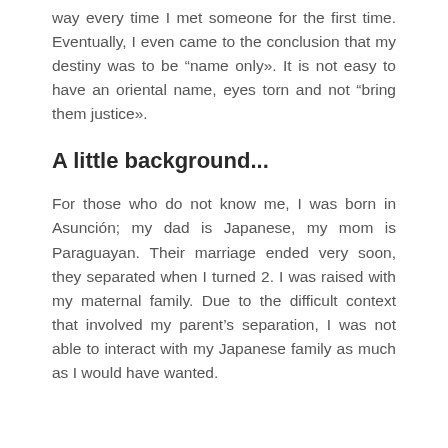way every time I met someone for the first time. Eventually, I even came to the conclusion that my destiny was to be “name only». It is not easy to have an oriental name, eyes torn and not “bring them justice».
A little background...
For those who do not know me, I was born in Asunción; my dad is Japanese, my mom is Paraguayan. Their marriage ended very soon, they separated when I turned 2. I was raised with my maternal family. Due to the difficult context that involved my parent’s separation, I was not able to interact with my Japanese family as much as I would have wanted.